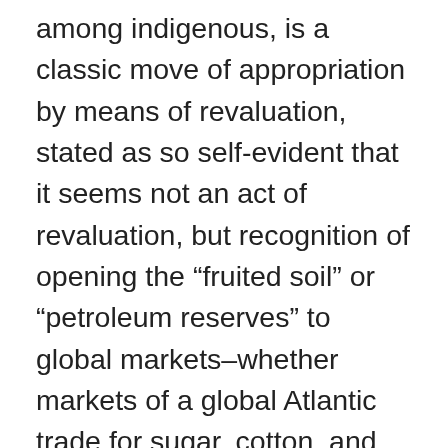among indigenous, is a classic move of appropriation by means of revaluation, stated as so self-evident that it seems not an act of revaluation, but recognition of opening the “fruited soil” or “petroleum reserves” to global markets–whether markets of a global Atlantic trade for sugar, cotton, and that reveal their intrinsic value in ways not apparent to their previous occupants, by a re-designation that will elevate the land’s value of lands as the demand and need for products washes over them, to benefit “all” mankind.